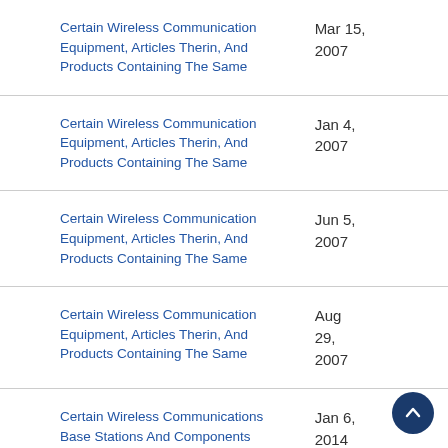| Case Title | Date |
| --- | --- |
| Certain Wireless Communication Equipment, Articles Therin, And Products Containing The Same | Mar 15, 2007 |
| Certain Wireless Communication Equipment, Articles Therin, And Products Containing The Same | Jan 4, 2007 |
| Certain Wireless Communication Equipment, Articles Therin, And Products Containing The Same | Jun 5, 2007 |
| Certain Wireless Communication Equipment, Articles Therin, And Products Containing The Same | Aug 29, 2007 |
| Certain Wireless Communications Base Stations And Components Thereof | Jan 6, 2014 |